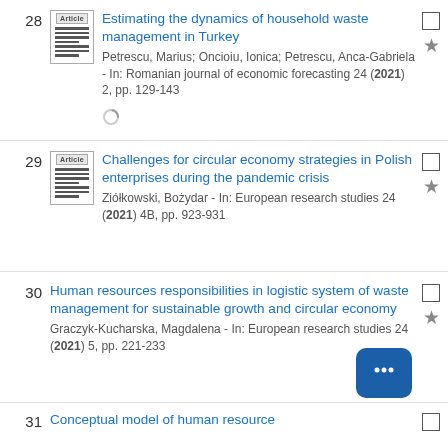28. Estimating the dynamics of household waste management in Turkey. Petrescu, Marius; Oncioiu, Ionica; Petrescu, Anca-Gabriela - In: Romanian journal of economic forecasting 24 (2021) 2, pp. 129-143
29. Challenges for circular economy strategies in Polish enterprises during the pandemic crisis. Ziółkowski, Bożydar - In: European research studies 24 (2021) 4B, pp. 923-931
30. Human resources responsibilities in logistic system of waste management for sustainable growth and circular economy. Graczyk-Kucharska, Magdalena - In: European research studies 24 (2021) 5, pp. 221-233
31. Conceptual model of human resource